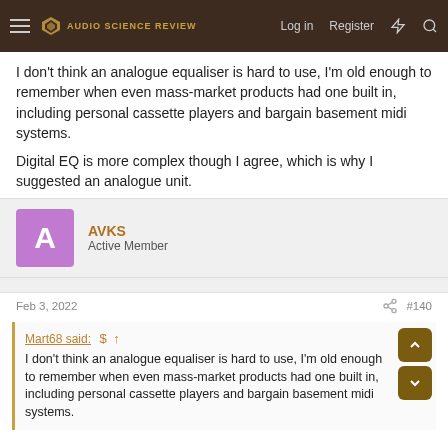Audio Science Review — Log in | Register
I don't think an analogue equaliser is hard to use, I'm old enough to remember when even mass-market products had one built in, including personal cassette players and bargain basement midi systems.
Digital EQ is more complex though I agree, which is why I suggested an analogue unit.
AVKS — Active Member
Feb 3, 2022  #140
Mart68 said: I don't think an analogue equaliser is hard to use, I'm old enough to remember when even mass-market products had one built in, including personal cassette players and bargain basement midi systems.